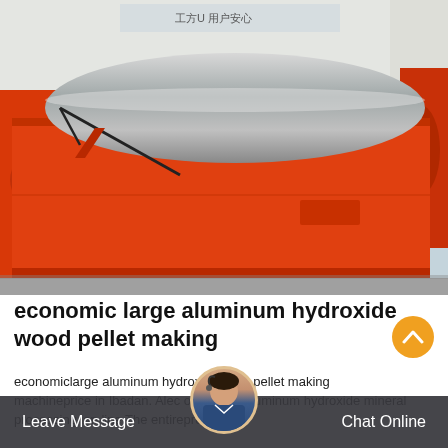[Figure (photo): Photo of a large orange industrial magnetic separator machine with a silver cylindrical drum on top, set in an outdoor industrial yard with other orange machinery and a white building in the background.]
economic large aluminum hydroxide wood pellet making
economiclarge aluminum hydroxidewood pellet making machineprice in Ibadan. Alec omiclarge aluminum hydroxide mineral processing ion line The entireprocessi...
Leave Message   Chat Online